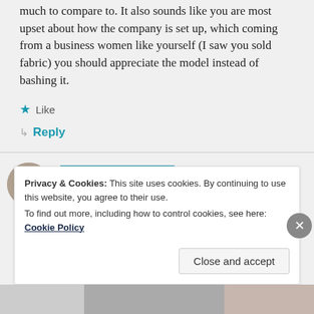much to compare to. It also sounds like you are most upset about how the company is set up, which coming from a business women like yourself (I saw you sold fabric) you should appreciate the model instead of bashing it.
★ Like
↳ Reply
MELISSA — May 25, 2017 at 10:54 pm
Privacy & Cookies: This site uses cookies. By continuing to use this website, you agree to their use. To find out more, including how to control cookies, see here: Cookie Policy
Close and accept